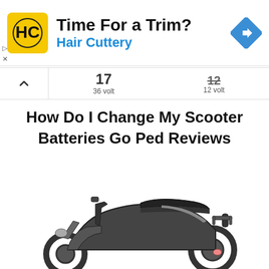[Figure (advertisement): Hair Cuttery advertisement banner with yellow HC logo, text 'Time For a Trim?' and 'Hair Cuttery', and a blue navigation diamond icon on the right.]
17
36 volt
12 volt
How Do I Change My Scooter Batteries Go Ped Reviews
[Figure (photo): A dark gray/black motor scooter photographed from the side on a white background.]